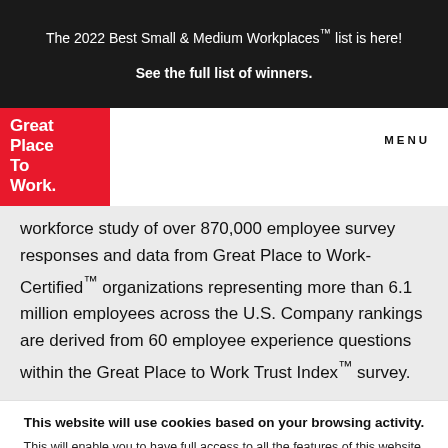The 2022 Best Small & Medium Workplaces™ list is here! See the full list of winners.
Great Place To Work.
MENU
workforce study of over 870,000 employee survey responses and data from Great Place to Work-Certified™ organizations representing more than 6.1 million employees across the U.S. Company rankings are derived from 60 employee experience questions within the Great Place to Work Trust Index™ survey.
This website will use cookies based on your browsing activity.
This will enable you to have full access to all the features of this website. By using this website, you agree we may store and access cookies on your device.
I UNDERSTAND